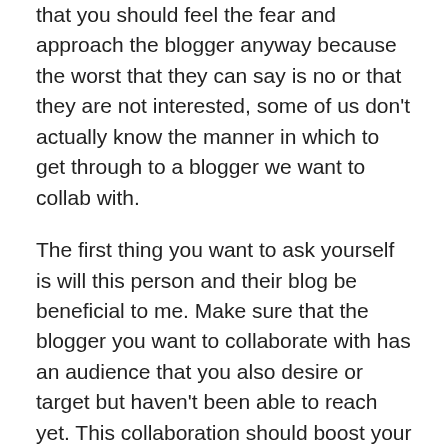that you should feel the fear and approach the blogger anyway because the worst that they can say is no or that they are not interested, some of us don't actually know the manner in which to get through to a blogger we want to collab with.
The first thing you want to ask yourself is will this person and their blog be beneficial to me. Make sure that the blogger you want to collaborate with has an audience that you also desire or target but haven't been able to reach yet. This collaboration should boost your reach and visibility. Once you've determined that this collaboration is right for you and you have an awesome idea that will be beneficial to all parties, you can now follow this step by step guide especially for those are new to networking and working with other bloggers.